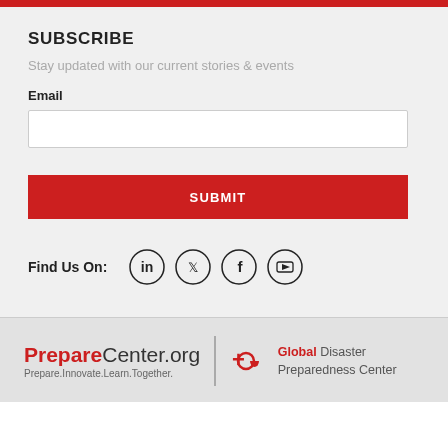SUBSCRIBE
Stay updated with our current stories & events
Email
SUBMIT
Find Us On:
[Figure (other): Social media icons: LinkedIn, Twitter, Facebook, YouTube in circular outlines]
PrepareCenter.org | Prepare.Innovate.Learn.Together. | Global Disaster Preparedness Center